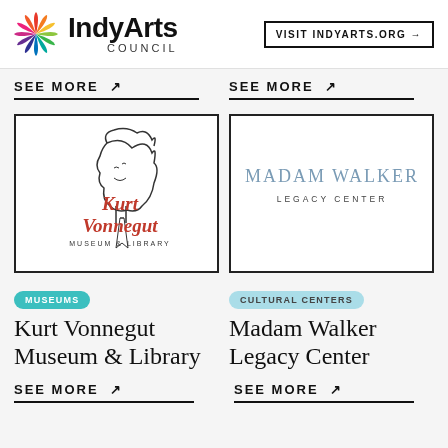[Figure (logo): IndyArts Council logo with colorful pinwheel swirl icon and bold text 'IndyArts Council']
VISIT INDYARTS.ORG →
SEE MORE ↗
SEE MORE ↗
[Figure (logo): Kurt Vonnegut Museum & Library logo with line drawing of a face and red script text]
[Figure (logo): Madam Walker Legacy Center logo in blue-grey serif text]
MUSEUMS
CULTURAL CENTERS
Kurt Vonnegut Museum & Library
Madam Walker Legacy Center
SEE MORE ↗
SEE MORE ↗